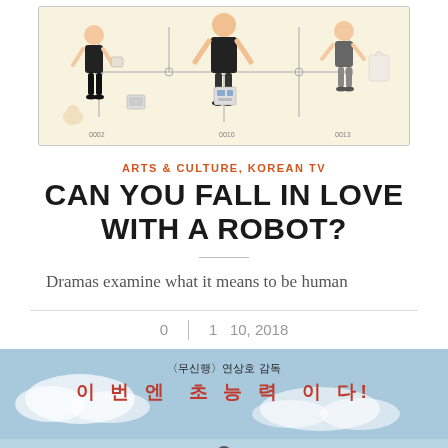[Figure (illustration): Illustrated assembly-kit style poster with character figures on a light yellow background, showing people in various poses with connector lines like a model kit.]
ARTS & CULTURE, KOREAN TV
CAN YOU FALL IN LOVE WITH A ROBOT?
Dramas examine what it means to be human
0  |  1  10, 2018
[Figure (photo): Movie or drama poster with Korean text on a sky/clouds background. Korean text reads: <무신행> 연상호 감독 / 이 번 엔 초 능 력 이 다! with a figure silhouette at the bottom.]